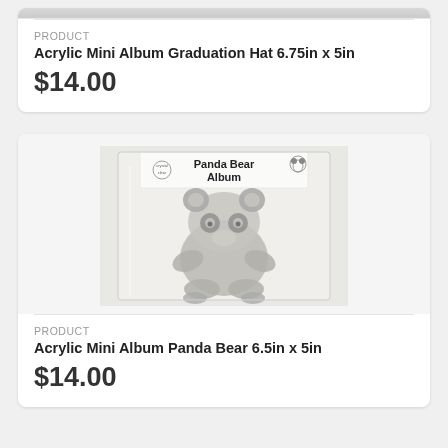[Figure (photo): Partial product image at top of page, cropped acrylic graduation hat album in plastic packaging]
PRODUCT
Acrylic Mini Album Graduation Hat 6.75in x 5in
$14.00
[Figure (photo): Acrylic Mini Album Panda Bear product in clear plastic packaging with 'Panda Bear Album' label, showing a panda bear shaped acrylic album]
PRODUCT
Acrylic Mini Album Panda Bear 6.5in x 5in
$14.00